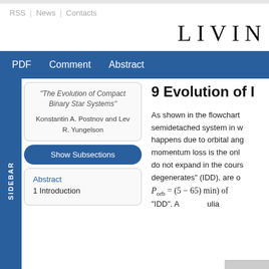RSS | News | Contacts
LIVIN
PDF  Comment  Abstract
"The Evolution of Compact Binary Star Systems"
Konstantin A. Postnov and Lev R. Yungelson
Show Subsections
Abstract
1 Introduction
9 Evolution of I
As shown in the flowchart semidetached system in w happens due to orbital ang momentum loss is the onl do not expand in the cours degenerates" (IDD), are o Porb = (5 – 65) min) of "IDD". A ulia